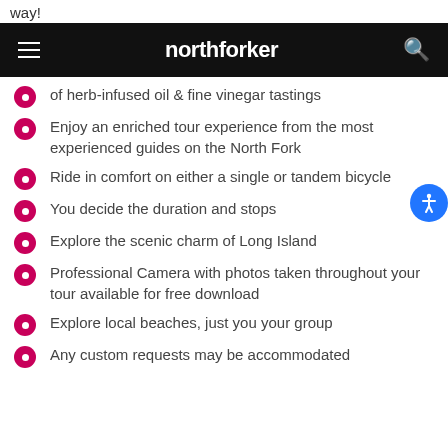way!
northforker
of herb-infused oil & fine vinegar tastings
Enjoy an enriched tour experience from the most experienced guides on the North Fork
Ride in comfort on either a single or tandem bicycle
You decide the duration and stops
Explore the scenic charm of Long Island
Professional Camera with photos taken throughout your tour available for free download
Explore local beaches, just you your group
Any custom requests may be accommodated